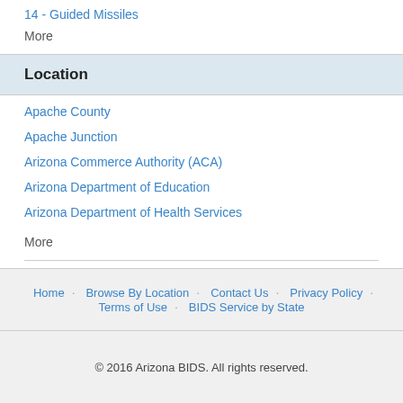14 - Guided Missiles
More
Location
Apache County
Apache Junction
Arizona Commerce Authority (ACA)
Arizona Department of Education
Arizona Department of Health Services
More
Home · Browse By Location · Contact Us · Privacy Policy · Terms of Use · BIDS Service by State
© 2016 Arizona BIDS. All rights reserved.